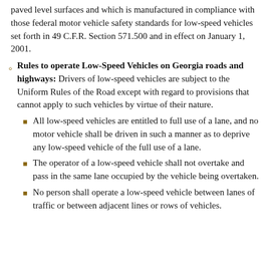paved level surfaces and which is manufactured in compliance with those federal motor vehicle safety standards for low-speed vehicles set forth in 49 C.F.R. Section 571.500 and in effect on January 1, 2001.
Rules to operate Low-Speed Vehicles on Georgia roads and highways: Drivers of low-speed vehicles are subject to the Uniform Rules of the Road except with regard to provisions that cannot apply to such vehicles by virtue of their nature.
All low-speed vehicles are entitled to full use of a lane, and no motor vehicle shall be driven in such a manner as to deprive any low-speed vehicle of the full use of a lane.
The operator of a low-speed vehicle shall not overtake and pass in the same lane occupied by the vehicle being overtaken.
No person shall operate a low-speed vehicle between lanes of traffic or between adjacent lines or rows of vehicles.